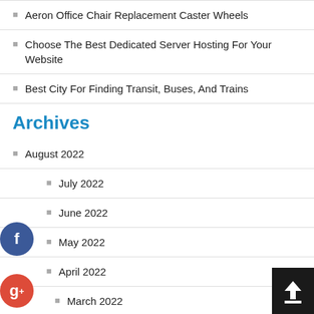Aeron Office Chair Replacement Caster Wheels
Choose The Best Dedicated Server Hosting For Your Website
Best City For Finding Transit, Buses, And Trains
Archives
August 2022
July 2022
June 2022
May 2022
April 2022
March 2022
February 2022